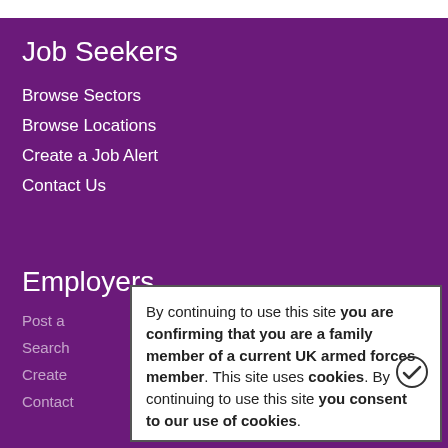Job Seekers
Browse Sectors
Browse Locations
Create a Job Alert
Contact Us
Employers
Post a
Search
Create
Contact
By continuing to use this site you are confirming that you are a family member of a current UK armed forces member. This site uses cookies. By continuing to use this site you consent to our use of cookies.